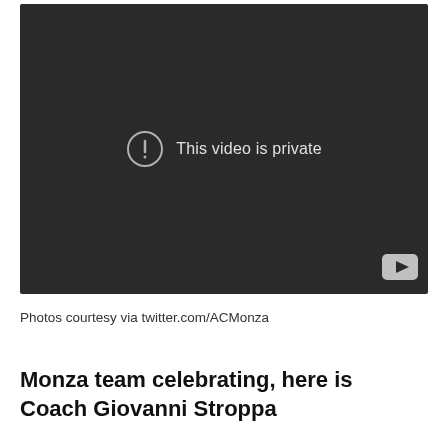[Figure (screenshot): YouTube-style video embed showing a dark/black background with a circular exclamation mark icon and the message 'This video is private'. A YouTube logo icon is visible in the bottom right corner.]
Photos courtesy via twitter.com/ACMonza
Monza team celebrating, here is Coach Giovanni Stroppa